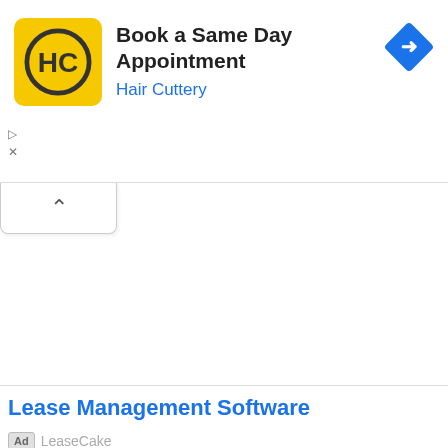[Figure (infographic): Hair Cuttery advertisement banner with yellow square logo showing 'HC' monogram, text 'Book a Same Day Appointment' and 'Hair Cuttery' in blue, blue diamond navigation icon on right]
Book a Same Day Appointment
Hair Cuttery
[Figure (other): Collapse/chevron up button UI element]
Lease Management Software
Ad LeaseCake